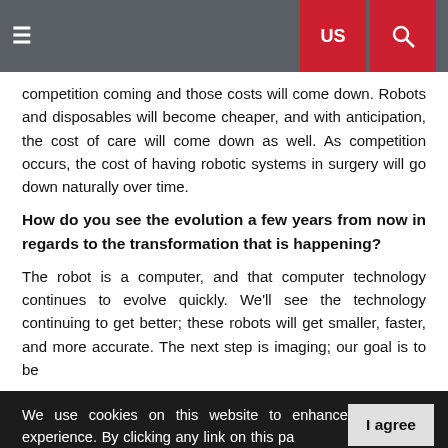≡  US  🔍
competition coming and those costs will come down. Robots and disposables will become cheaper, and with anticipation, the cost of care will come down as well. As competition occurs, the cost of having robotic systems in surgery will go down naturally over time.
How do you see the evolution a few years from now in regards to the transformation that is happening?
The robot is a computer, and that computer technology continues to evolve quickly. We'll see the technology continuing to get better; these robots will get smaller, faster, and more accurate. The next step is imaging; our goal is to be
We use cookies on this website to enhance your user experience. By clicking any link on this pa[ge you are giving] your consent for us to set cookies. More info